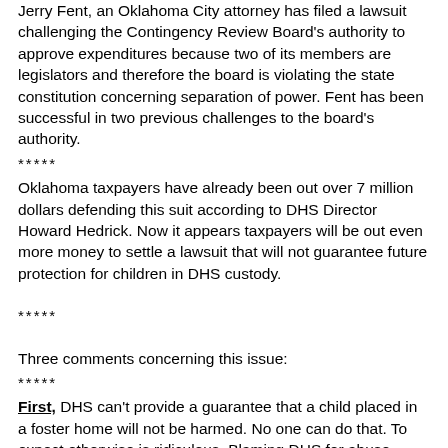Jerry Fent, an Oklahoma City attorney has filed a lawsuit challenging the Contingency Review Board's authority to approve expenditures because two of its members are legislators and therefore the board is violating the state constitution concerning separation of power. Fent has been successful in two previous challenges to the board's authority.
*****
Oklahoma taxpayers have already been out over 7 million dollars defending this suit according to DHS Director Howard Hedrick. Now it appears taxpayers will be out even more money to settle a lawsuit that will not guarantee future protection for children in DHS custody.
*****
Three comments concerning this issue:
*****
First, DHS can't provide a guarantee that a child placed in a foster home will not be harmed. No one can do that. To expect otherwise is ridiculous. Blaming DHS for abuse committed by evil people is unfair. Hindsight is always 20/20, but inside sources say they do the best they can to all